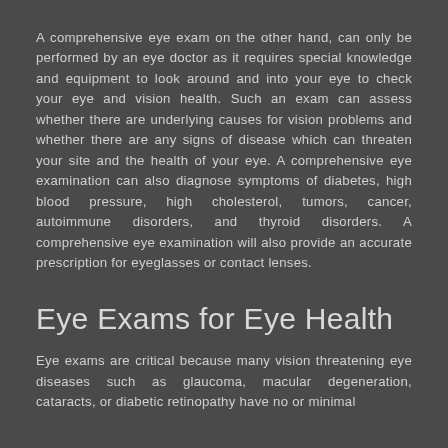A comprehensive eye exam on the other hand, can only be performed by an eye doctor as it requires special knowledge and equipment to look around and into your eye to check your eye and vision health. Such an exam can assess whether there are underlying causes for vision problems and whether there are any signs of disease which can threaten your site and the health of your eye. A comprehensive eye examination can also diagnose symptoms of diabetes, high blood pressure, high cholesterol, tumors, cancer, autoimmune disorders, and thyroid disorders. A comprehensive eye examination will also provide an accurate prescription for eyeglasses or contact lenses.
Eye Exams for Eye Health
Eye exams are critical because many vision threatening eye diseases such as glaucoma, macular degeneration, cataracts, or diabetic retinopathy have no or minimal